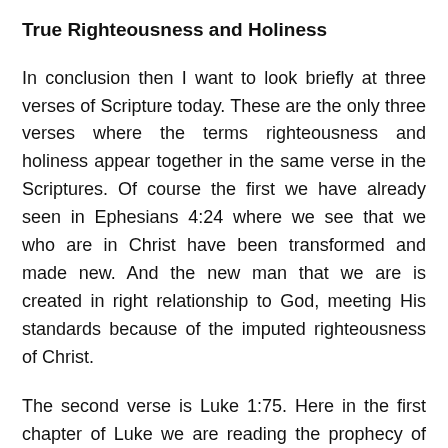True Righteousness and Holiness
In conclusion then I want to look briefly at three verses of Scripture today. These are the only three verses where the terms righteousness and holiness appear together in the same verse in the Scriptures. Of course the first we have already seen in Ephesians 4:24 where we see that we who are in Christ have been transformed and made new. And the new man that we are is created in right relationship to God, meeting His standards because of the imputed righteousness of Christ.
The second verse is Luke 1:75. Here in the first chapter of Luke we are reading the prophecy of Zacharias, John the Baptists father. In this prophecy he states that the Messiah is coming so that His people might serve God. This service is done without fear for perfect love casts our fear. And this